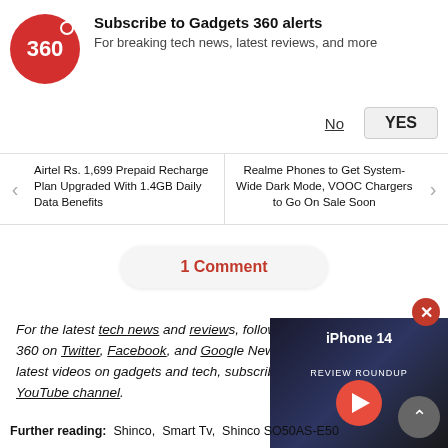[Figure (logo): Gadgets 360 logo - red circle with '360' text in white]
Subscribe to Gadgets 360 alerts
For breaking tech news, latest reviews, and more
No   YES
Airtel Rs. 1,699 Prepaid Recharge Plan Upgraded With 1.4GB Daily Data Benefits
Realme Phones to Get System-Wide Dark Mode, VOOC Chargers to Go On Sale Soon
1 Comment
For the latest tech news and reviews, follow Gadgets 360 on Twitter, Facebook, and Google News. For the latest videos on gadgets and tech, subscribe to our YouTube channel.
[Figure (screenshot): iPhone 14 Review Roundup video thumbnail with play button]
Further reading: Shinco,  Smart Tv,  Shinco SO50AS-E50